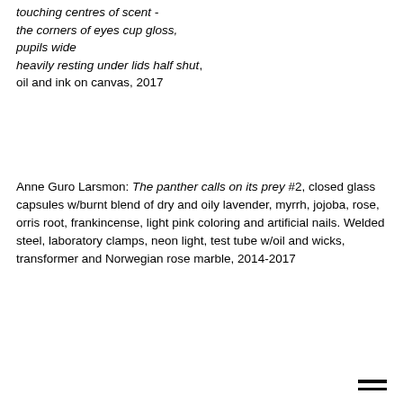touching centres of scent - the corners of eyes cup gloss, pupils wide heavily resting under lids half shut, oil and ink on canvas, 2017
Anne Guro Larsmon: The panther calls on its prey #2, closed glass capsules w/burnt blend of dry and oily lavender, myrrh, jojoba, rose, orris root, frankincense, light pink coloring and artificial nails. Welded steel, laboratory clamps, neon light, test tube w/oil and wicks, transformer and Norwegian rose marble, 2014-2017